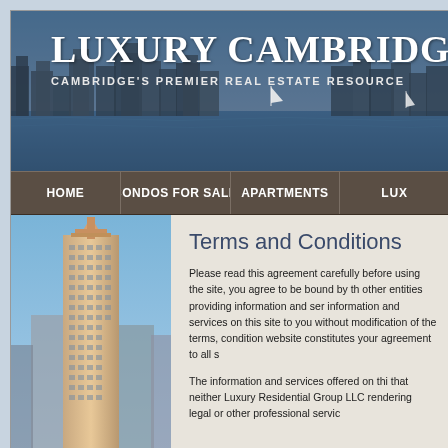[Figure (photo): Header banner showing Cambridge city skyline with water in foreground, sailboats, and blue sky. White serif text 'LUXURY CAMBRIDGE' and subtitle 'CAMBRIDGE'S PREMIER REAL ESTATE RESOURCE' overlaid.]
LUXURY CAMBRIDGE — CAMBRIDGE'S PREMIER REAL ESTATE RESOURCE
HOME | CONDOS FOR SALE | APARTMENTS | LUX
[Figure (photo): Photo of a tall building/skyscraper (appears to be the Prudential Tower or similar Boston landmark) against a blue sky]
Terms and Conditions
Please read this agreement carefully before using the site, you agree to be bound by the other entities providing information and services on this site to you without modification of the terms, conditions website constitutes your agreement to all s
The information and services offered on this that neither Luxury Residential Group LLC rendering legal or other professional service